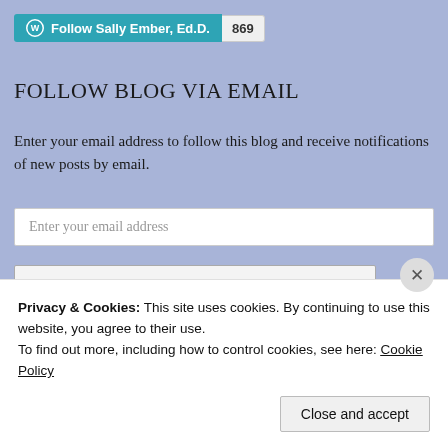[Figure (other): WordPress Follow button widget showing 'Follow Sally Ember, Ed.D.' with follower count badge '869']
FOLLOW BLOG VIA EMAIL
Enter your email address to follow this blog and receive notifications of new posts by email.
Enter your email address
Follow Sally Ember, Ed.D., and Timult Books
Join 7,855 other followers
Privacy & Cookies: This site uses cookies. By continuing to use this website, you agree to their use.
To find out more, including how to control cookies, see here: Cookie Policy
Close and accept